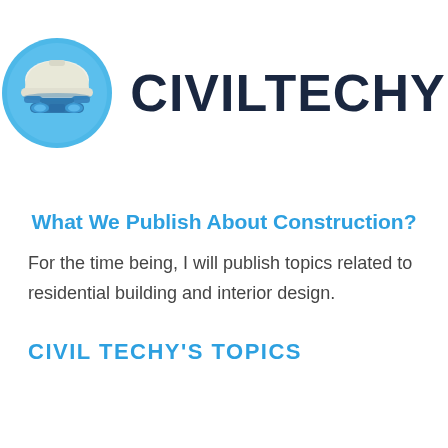[Figure (logo): CivilTechy logo: a blue circle with a white construction hard hat icon, next to bold dark navy text reading CIVILTECHY]
What We Publish About Construction?
For the time being, I will publish topics related to residential building and interior design.
CIVIL TECHY'S TOPICS